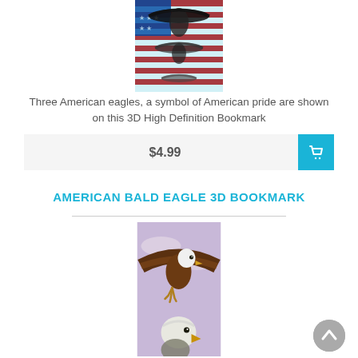[Figure (photo): Three American eagles on American flag background, 3D bookmark product image]
Three American eagles, a symbol of American pride are shown on this 3D High Definition Bookmark
$4.99
AMERICAN BALD EAGLE 3D BOOKMARK
[Figure (photo): American bald eagle in flight close-up, 3D bookmark product image]